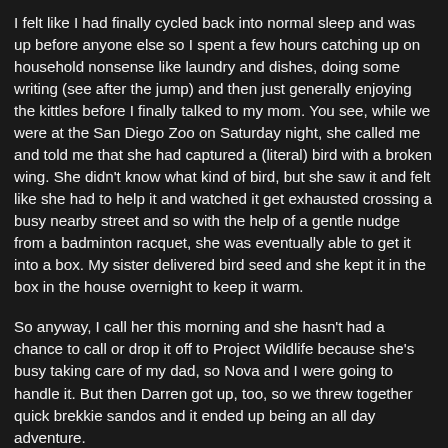I felt like I had finally cycled back into normal sleep and was up before anyone else so I spent a few hours catching up on household nonsense like laundry and dishes, doing some writing (see after the jump) and then just generally enjoying the kittles before I finally talked to my mom. You see, while we were at the San Diego Zoo on Saturday night, she called me and told me that she had captured a (literal) bird with a broken wing. She didn't know what kind of bird, but she saw it and felt like she had to help it and watched it get exhausted crossing a busy nearby street and so with the help of a gentle nudge from a badminton racquet, she was eventually able to get it into a box. My sister delivered bird seed and she kept it in the box in the house overnight to keep it warm.
So anyway, I call her this morning and she hasn't had a chance to call or drop it off to Project Wildlife because she's busy taking care of my dad, so Nova and I were going to handle it. But then Darren got up, too, so we threw together quick brekkie sandos and it ended up being an all day adventure.